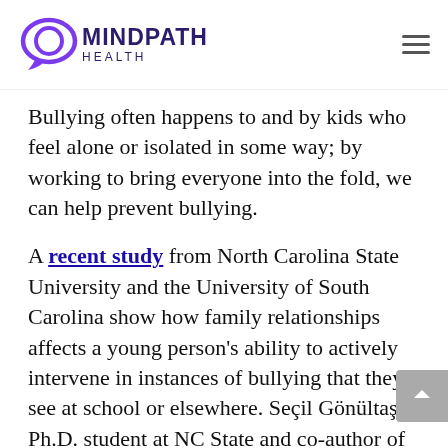MINDPATH HEALTH
Bullying often happens to and by kids who feel alone or isolated in some way; by working to bring everyone into the fold, we can help prevent bullying.
A recent study from North Carolina State University and the University of South Carolina show how family relationships affects a young person's ability to actively intervene in instances of bullying that they see at school or elsewhere. Seçil Gönültaş, a Ph.D. student at NC State and co-author of the paper, said that the study showed “that family is very important…The stronger a student’s reported ‘good family management,’ or positive family relationships, the more likely a student was to